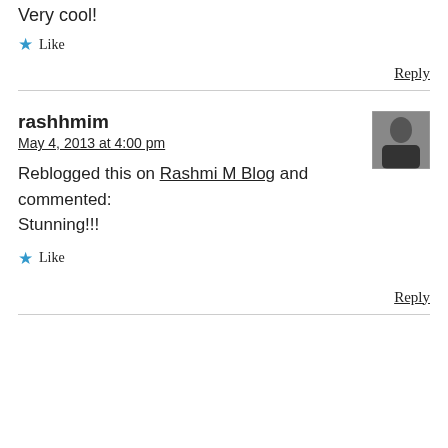Very cool!
★ Like
Reply
rashhmim
May 4, 2013 at 4:00 pm
Reblogged this on Rashmi M Blog and commented:
Stunning!!!
★ Like
Reply